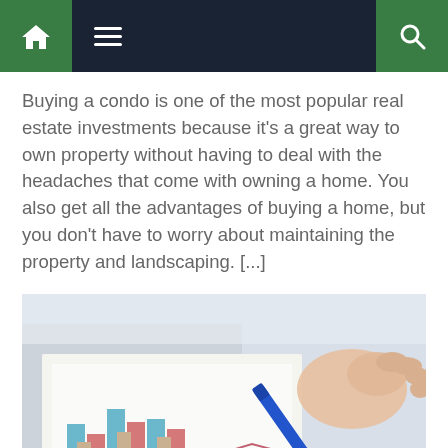Navigation bar with home, menu, and search icons
Buying a condo is one of the most popular real estate investments because it's a great way to own property without having to deal with the headaches that come with owning a home. You also get all the advantages of buying a home, but you don't have to worry about maintaining the property and landscaping. [...]
[Figure (photo): A hand holding a blue pen pointing at financial/real estate charts and graphs on paper, showing bar charts and a line graph]